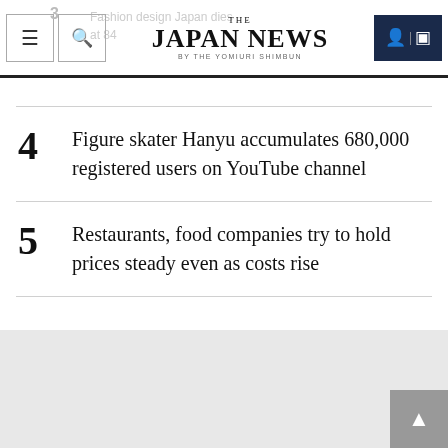THE JAPAN NEWS BY THE YOMIURI SHIMBUN
4  Figure skater Hanyu accumulates 680,000 registered users on YouTube channel
5  Restaurants, food companies try to hold prices steady even as costs rise